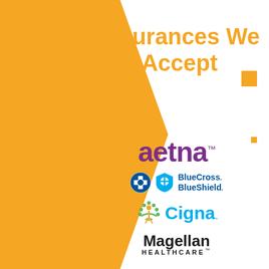[Figure (illustration): Orange chevron/arrow shape pointing right on the left side of the page, decorative background element]
Insurances We Accept
[Figure (logo): Aetna insurance logo in purple bold text]
[Figure (logo): BlueCross BlueShield logo with two blue cross/shield icons and text]
[Figure (logo): Cigna logo with green tree/person icon and blue Cigna text]
[Figure (logo): Magellan Healthcare logo in black bold text]